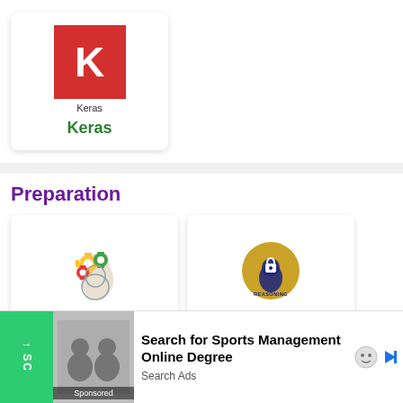[Figure (logo): Keras logo card: red square with white K, label 'Keras' below in small text, then large green 'Keras' text]
Preparation
[Figure (illustration): Aptitude card with a colorful gears-in-head icon and green 'Aptitude' label]
[Figure (illustration): Reasoning card with a gold circle containing a head with lock icon and text 'REASONING', green 'Reasoning' label]
[Figure (illustration): Partially visible bottom-row cards]
Search for Sports Management Online Degree
Search Ads
Sponsored